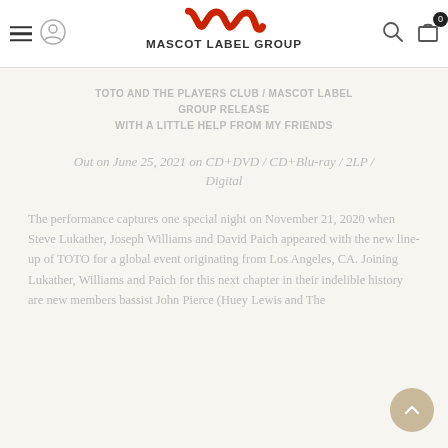Mascot Label Group — navigation header with logo, hamburger menu, profile icon, search icon, and cart (0)
TOTO AND THE PLAYERS CLUB / MASCOT LABEL GROUP RELEASE
WITH A LITTLE HELP FROM MY FRIENDS
Out on June 25, 2021 on CD+DVD / CD+Blu-ray / 2LP / Digital
The performance captures one special night on November 21, 2020 when Steve Lukather, Joseph Williams and David Paich appeared with the new line-up of TOTO for a global event originating from Los Angeles, CA. Joining Lukather, Williams and Paich for this next chapter in their indelible history are new members bassist John Pierce (Huey Lewis and The News)…